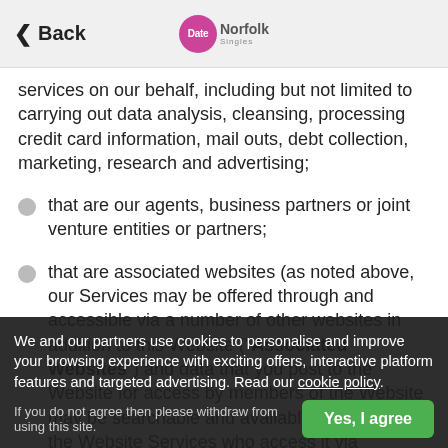Back | Date Norfolk Singles
services on our behalf, including but not limited to carrying out data analysis, cleansing, processing credit card information, mail outs, debt collection, marketing, research and advertising;
that are our agents, business partners or joint venture entities or partners;
that are associated websites (as noted above, our Services may be offered through and accessible via a number of other websites in addition to this Website (“Associated Websites”) and data that you post to the Website for access by members of the Website may be searchable and available to users of the Website Services who access it via Associated Websites);
that partake or promote any competition that we conduct or promote via our Services or
if we are under a duty to disclose or share your personal data
We and our partners use cookies to personalise and improve your browsing experience with exciting offers, interactive platform features and targeted advertising. Read our cookie policy.
If you do not agree then please withdraw from using this site.